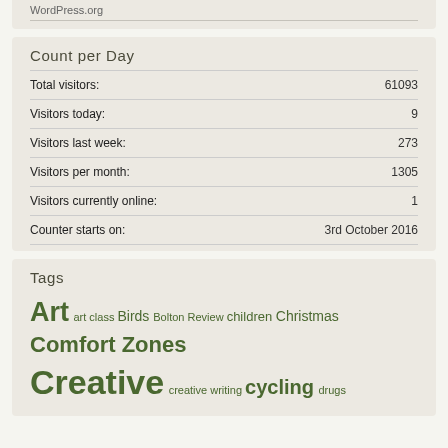WordPress.org
Count per Day
| Label | Value |
| --- | --- |
| Total visitors: | 61093 |
| Visitors today: | 9 |
| Visitors last week: | 273 |
| Visitors per month: | 1305 |
| Visitors currently online: | 1 |
| Counter starts on: | 3rd October 2016 |
Tags
Art art class Birds Bolton Review children Christmas Comfort Zones Creative creative writing cycling drugs